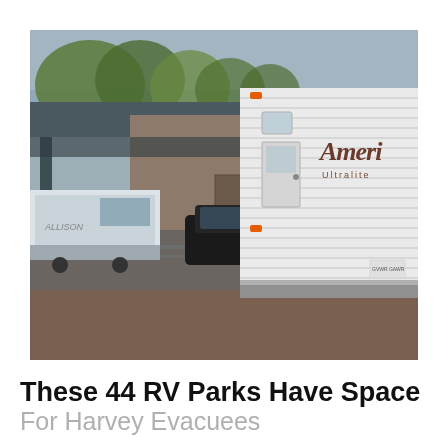[Figure (photo): Outdoor scene showing a white RV travel trailer (branded 'Ameri Ultralite') parked beside a carport structure with a boat on the left and a dark car partially visible, in what appears to be a flooded or muddy driveway with trees in the background.]
These 44 RV Parks Have Space For Harvey Evacuees